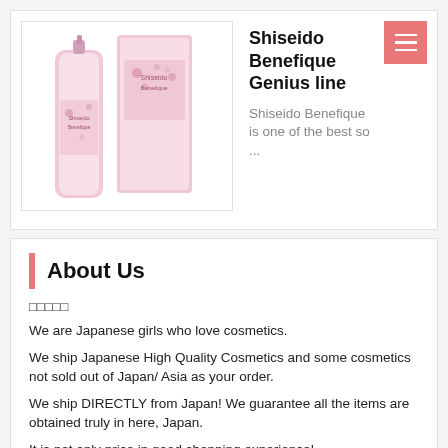[Figure (photo): Photo of Shiseido Benefique Genius line product — a pink bottle/serum and its pink box with floral design]
Shiseido Benefique Genius line
Shiseido Benefique is one of the best so ...
About Us
□□□□□
We are Japanese girls who love cosmetics.
We ship Japanese High Quality Cosmetics and some cosmetics not sold out of Japan/ Asia as your order.
We ship DIRECTLY from Japan! We guarantee all the items are obtained truly in here, Japan.
It is not only price in good shopping experience!